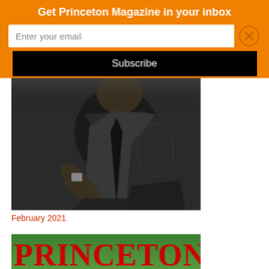Get Princeton Magazine in your inbox
Enter your email
Subscribe
[Figure (photo): Black and white portrait photograph of a man in a suit, seated and leaning back in a relaxed pose against a dark background]
February 2021
[Figure (photo): Bottom portion of Princeton Magazine cover showing the word PRINCETON in large red serif letters against a green background]